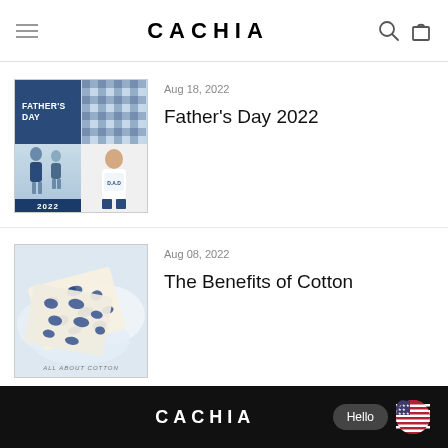CACHIA
[Figure (photo): Father's Day 2022 blog thumbnail showing family in matching blue pajamas with '2022' banner]
Aug 18, 2022
Father's Day 2022
[Figure (photo): The Benefits of Cotton blog thumbnail showing blue leopard print fabric/clothing on white background with 'ALL ABOUT COTTON' text]
Aug 08, 2022
The Benefits of Cotton
CACHIA   Hello